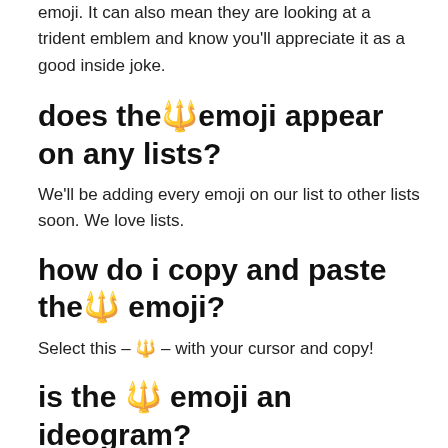emoji. It can also mean they are looking at a trident emblem and know you'll appreciate it as a good inside joke.
does the🔱emoji appear on any lists?
We'll be adding every emoji on our list to other lists soon. We love lists.
how do i copy and paste the🔱 emoji?
Select this – 🔱 – with your cursor and copy!
is the 🔱 emoji an ideogram?
Definitely. Why wouldn't it be? It's an official emoji.